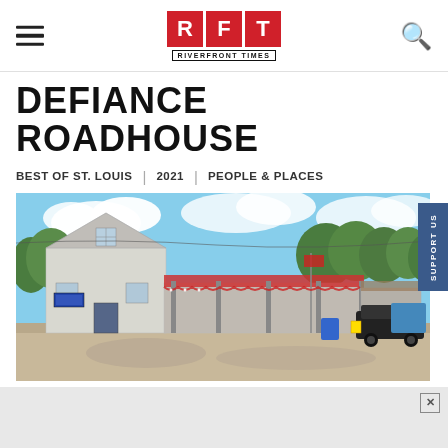RFT RIVERFRONT TIMES
DEFIANCE ROADHOUSE
BEST OF ST. LOUIS | 2021 | PEOPLE & PLACES
[Figure (photo): Street view photo of Defiance Roadhouse, a low-rise white/grey clapboard building with a covered porch area, parked trucks visible, summer trees and blue sky with clouds in background.]